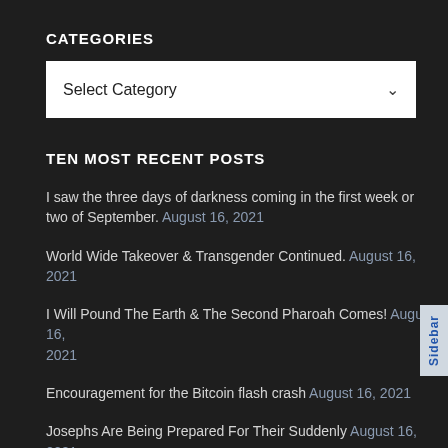CATEGORIES
Select Category
TEN MOST RECENT POSTS
I saw the three days of darkness coming in the first week or two of September. August 16, 2021
World Wide Takeover & Transgender Continued. August 16, 2021
I Will Pound The Earth & The Second Pharoah Comes! August 16, 2021
Encouragement for the Bitcoin flash crash August 16, 2021
Josephs Are Being Prepared For Their Suddenly August 16, 2021